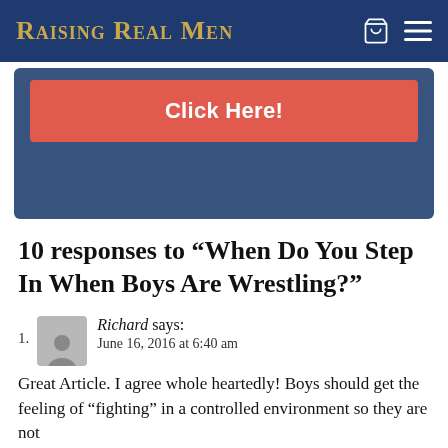Raising Real Men
[Figure (other): Red call-to-action button reading 'Click Here!' on a blue/navy background promotional box]
10 responses to “When Do You Step In When Boys Are Wrestling?”
1. Richard says: June 16, 2016 at 6:40 am

Great Article. I agree whole heartedly! Boys should get the feeling of “fighting” in a controlled environment so they are not